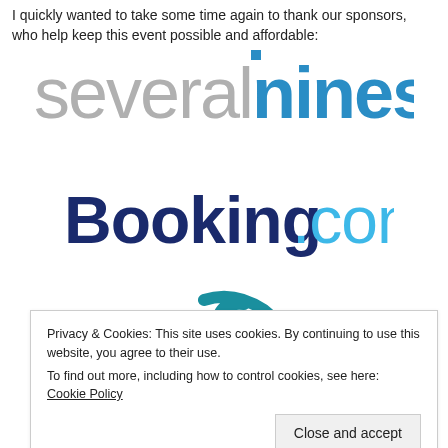I quickly wanted to take some time again to thank our sponsors, who help keep this event possible and affordable:
[Figure (logo): Several Nines logo — 'several' in light grey and 'nines' in blue, large stylized font]
[Figure (logo): Booking.com logo — 'Booking' in dark navy bold and '.com' in light blue]
[Figure (logo): Partial teal/blue logo visible at bottom, partially obscured by cookie banner]
Privacy & Cookies: This site uses cookies. By continuing to use this website, you agree to their use.
To find out more, including how to control cookies, see here: Cookie Policy
Close and accept